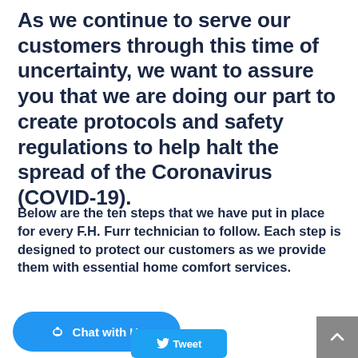As we continue to serve our customers through this time of uncertainty, we want to assure you that we are doing our part to create protocols and safety regulations to help halt the spread of the Coronavirus (COVID-19).
Below are the ten steps that we have put in place for every F.H. Furr technician to follow. Each step is designed to protect our customers as we provide them with essential home comfort services.
[Figure (other): Continue Reading button and Chat with Us button, plus a Tweet button and scroll-to-top arrow button]